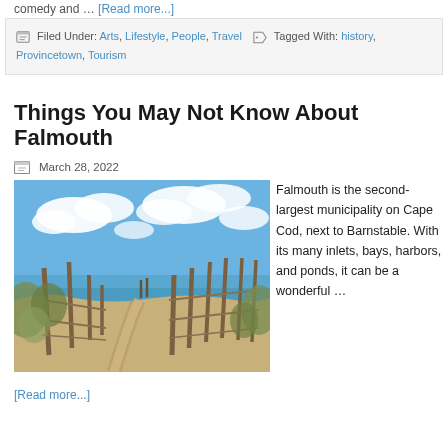comedy and … [Read more...]
Filed Under: Arts, Lifestyle, People, Travel  Tagged With: history, Provincetown, Tourism
Things You May Not Know About Falmouth
March 28, 2022
[Figure (photo): Sandy path through beach grass and wooden fence leading to ocean under blue cloudy sky]
Falmouth is the second-largest municipality on Cape Cod, next to Barnstable. With its many inlets, bays, harbors, and ponds, it can be a wonderful …
[Read more...]